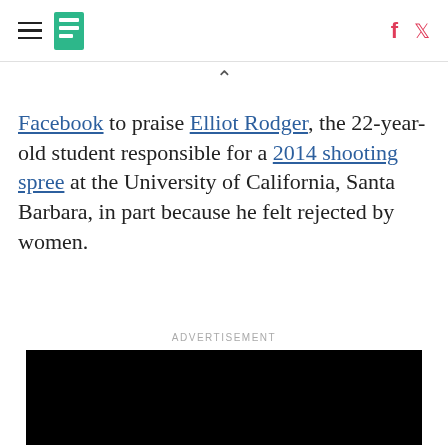HuffPost navigation header with menu, logo, Facebook and Twitter icons
Facebook to praise Elliot Rodger, the 22-year-old student responsible for a 2014 shooting spree at the University of California, Santa Barbara, in part because he felt rejected by women.
ADVERTISEMENT
[Figure (screenshot): Black video player with play button and mute icon in bottom-left corner]